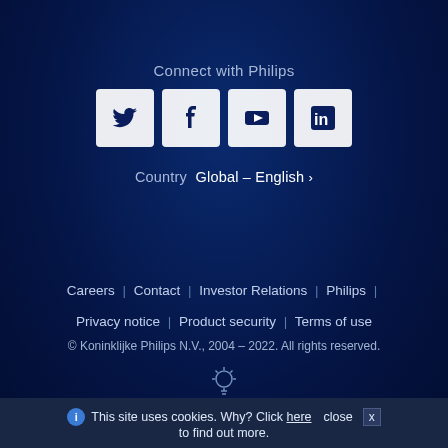Connect with Philips
[Figure (illustration): Four social media icons in white rounded square buttons: Twitter (bird), Facebook (f), YouTube (play button), LinkedIn (in)]
Country  Global – English >
Careers | Contact | Investor Relations | Philips |
Privacy notice | Product security | Terms of use
© Koninklijke Philips N.V., 2004 - 2022. All rights reserved.
[Figure (illustration): Philips lightbulb logo icon in light blue/white outline style]
This site uses cookies. Why? Click here to find out more.
close x